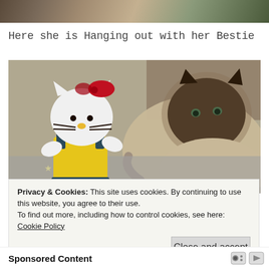[Figure (photo): Partial top edge of an outdoor photo showing wood/stone texture and greenery]
Here she is Hanging out with her Bestie
[Figure (photo): A crocheted Hello Kitty doll with red bow and yellow outfit sitting next to a Birman/Ragdoll cat with dark face and fluffy body, outdoors on a concrete surface]
Privacy & Cookies: This site uses cookies. By continuing to use this website, you agree to their use.
To find out more, including how to control cookies, see here: Cookie Policy
Close and accept
Sponsored Content